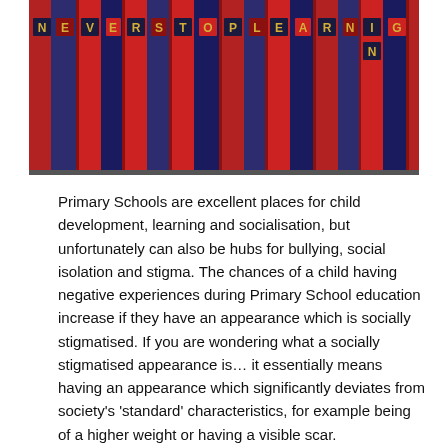[Figure (photo): A row of red and blue book spines with gold letters spelling out 'NEVER STOP LEARNING' on their spines against a library shelf background.]
Primary Schools are excellent places for child development, learning and socialisation, but unfortunately can also be hubs for bullying, social isolation and stigma. The chances of a child having negative experiences during Primary School education increase if they have an appearance which is socially stigmatised. If you are wondering what a socially stigmatised appearance is… it essentially means having an appearance which significantly deviates from society's 'standard' characteristics, for example being of a higher weight or having a visible scar.
Of course, no two children's experiences will be the